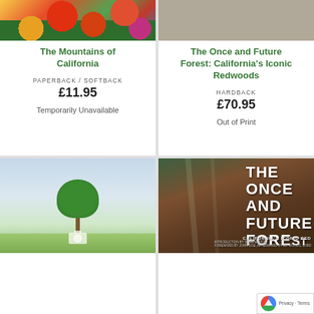[Figure (photo): Book cover for The Mountains of California showing colorful California flowers and foliage]
The Mountains of California
PAPERBACK / SOFTBACK
£11.95
Temporarily Unavailable
[Figure (photo): Book cover for The Once and Future Forest: California's Iconic Redwoods - shown as grey/tan placeholder image]
The Once and Future Forest: California's Iconic Redwoods
HARDBACK
£70.95
Out of Print
[Figure (photo): Placeholder image showing a solitary tree in a green field with a camera icon overlay]
[Figure (photo): Book cover for The Once and Future Forest showing tall California redwood trees with bold white title text reading THE ONCE AND FUTURE FOREST, CALIFORNIA'S ICONIC REDWOODS]